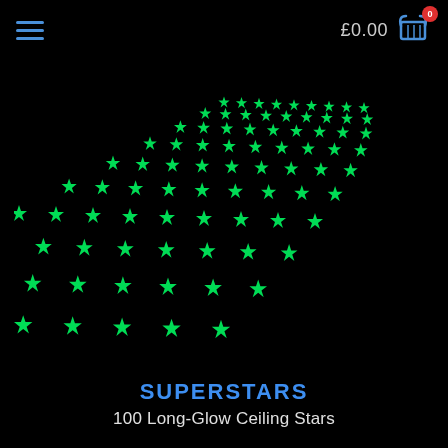£0.00
[Figure (photo): A grid of 100 glowing green stars arranged in a perspective isometric layout on a black background, resembling glow-in-the-dark ceiling stars laid flat on a surface.]
SUPERSTARS
100 Long-Glow Ceiling Stars